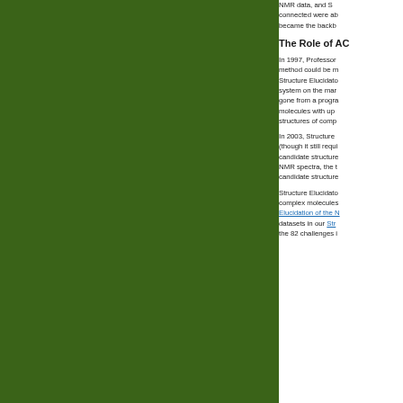[Figure (photo): Large dark olive/forest green panel occupying the left portion of the page]
NMR data, and Structure Elucidator's nodes that were connected were able to... became the backb...
The Role of AC...
In 1997, Professor... method could be m... Structure Elucidato... system on the mar... gone from a progra... molecules with up... structures of comp...
In 2003, Structure... (though it still requi... candidate structure... NMR spectra, the t... candidate structure...
Structure Elucidato... complex molecules... Elucidation of the N... datasets in our Str... the 82 challenges i...